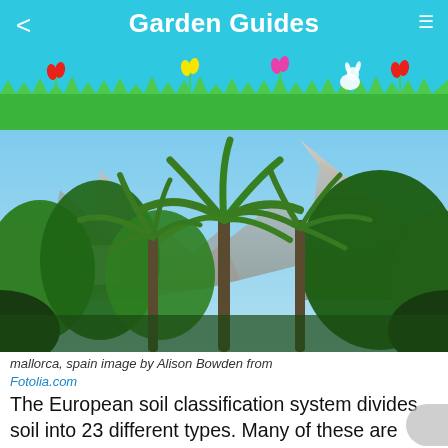Garden Guides
[Figure (photo): Lush Mediterranean garden with palm trees and mountains in the background, Mallorca Spain]
mallorca, spain image by Alison Bowden from Fotolia.com
The European soil classification system divides soil into 23 different types. Many of these are widely distributed throughout the continent, but there are also several